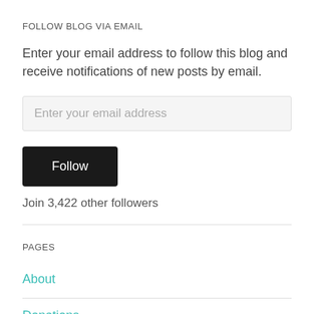FOLLOW BLOG VIA EMAIL
Enter your email address to follow this blog and receive notifications of new posts by email.
Enter your email address
Follow
Join 3,422 other followers
PAGES
About
Donations